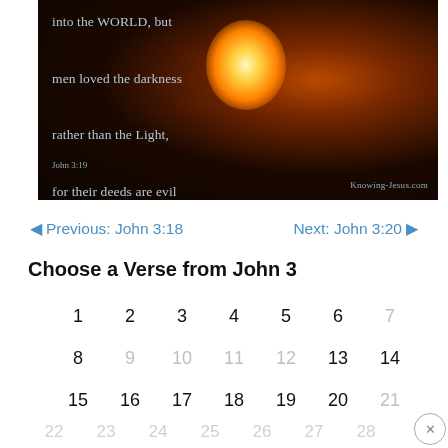[Figure (photo): Dark dramatic image of a man holding fire with Bible verse text overlay: 'into the WORLD, but men loved the darkness rather than the Light, for their deeds are evil' — John 3:19. Watermark: Knowing-Jesus.com]
◄ Previous: John 3:18    Next: John 3:20 ►
Choose a Verse from John 3
1  2  3  4  5  6  7
8  9  10  11  12  13  14
15  16  17  18  19  20  21
22  23  24  25  26  27  28